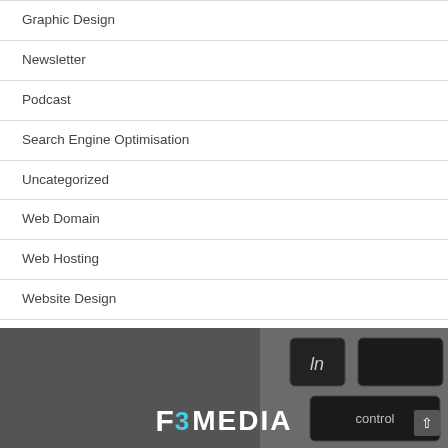Graphic Design
Newsletter
Podcast
Search Engine Optimisation
Uncategorized
Web Domain
Web Hosting
Website Design
[Figure (logo): F3 Media logo on a dark keyboard background with 'control' key partially visible]